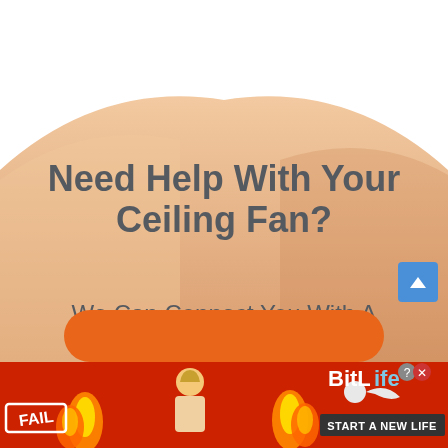[Figure (illustration): Advertisement banner with arch-shaped warm orange gradient background. Shows headline 'Need Help With Your Ceiling Fan?' and subtext 'We Can Connect You With A Vetted Professional For Free With No Obligation!' with an orange call-to-action button. Bottom has a BitLife game advertisement with fire, fail text, and a cartoon person.]
Need Help With Your Ceiling Fan?
We Can Connect You With A Vetted Professional For Free With No Obligation!